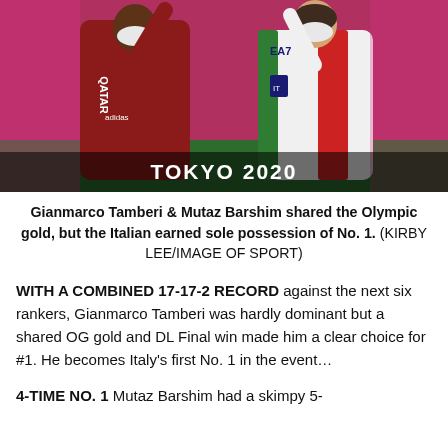[Figure (photo): Two athletes wearing masks — one in red Qatar tracksuit, one in white Italy jacket — both raising their arms at Tokyo 2020 Olympics ceremony.]
Gianmarco Tamberi & Mutaz Barshim shared the Olympic gold, but the Italian earned sole possession of No. 1. (KIRBY LEE/IMAGE OF SPORT)
WITH A COMBINED 17-17-2 RECORD against the next six rankers, Gianmarco Tamberi was hardly dominant but a shared OG gold and DL Final win made him a clear choice for #1. He becomes Italy's first No. 1 in the event…
4-TIME NO. 1 Mutaz Barshim had a skimpy 5-